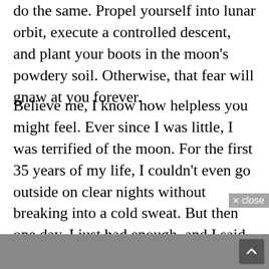do the same. Propel yourself into lunar orbit, execute a controlled descent, and plant your boots in the moon's powdery soil. Otherwise, that fear will gnaw at you forever.
Believe me, I know how helpless you might feel. Ever since I was little, I was terrified of the moon. For the first 35 years of my life, I couldn't even go outside on clear nights without breaking into a cold sweat. But then one day, I just had enough, and I said to myself, "Buzz, you can't keep on living this way." I knew deep down I had no choice but to land on the moon's surface, climb through that hatch, descend to the ground at one-sixth the gravity of Earth, and place my feet on the very thing that had always terrified me.